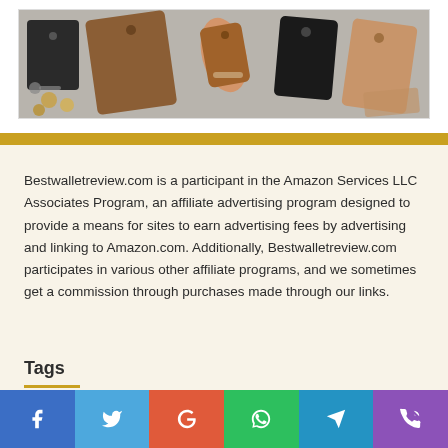[Figure (photo): Flat lay photo of multiple leather wallets in brown, black, and tan colors arranged on a light surface, with a hand holding one wallet, coins, keys, and accessories visible]
Bestwalletreview.com is a participant in the Amazon Services LLC Associates Program, an affiliate advertising program designed to provide a means for sites to earn advertising fees by advertising and linking to Amazon.com. Additionally, Bestwalletreview.com participates in various other affiliate programs, and we sometimes get a commission through purchases made through our links.
Tags